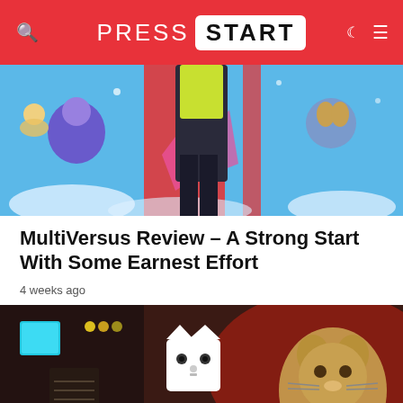PRESS START
[Figure (illustration): MultiVersus game artwork showing animated characters including Tom and Jerry in a colorful battle scene with red and white striped background]
MultiVersus Review – A Strong Start With Some Earnest Effort
4 weeks ago
[Figure (illustration): Stray game artwork showing a cat character and a white cat-shaped robot icon in a dark futuristic city environment with red lighting]